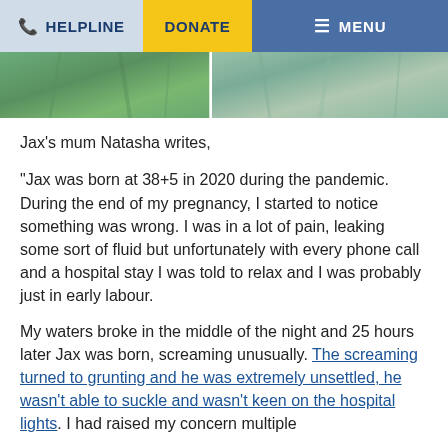HELPLINE  DONATE  MENU
[Figure (photo): Close-up photo strip of person wearing green surgical/medical gown fabric, split by a vertical light line.]
Jax's mum Natasha writes,
“Jax was born at 38+5 in 2020 during the pandemic. During the end of my pregnancy, I started to notice something was wrong. I was in a lot of pain, leaking some sort of fluid but unfortunately with every phone call and a hospital stay I was told to relax and I was probably just in early labour.
My waters broke in the middle of the night and 25 hours later Jax was born, screaming unusually. The screaming turned to grunting and he was extremely unsettled, he wasn’t able to suckle and wasn’t keen on the hospital lights. I had raised my concern multiple